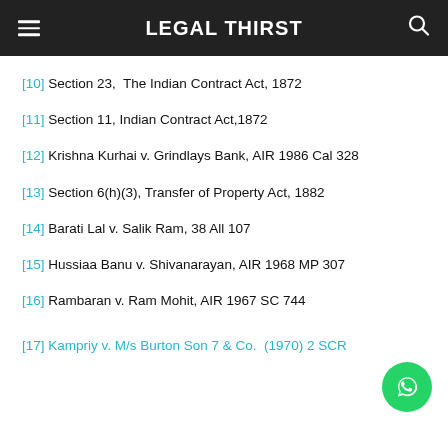LEGAL THIRST
[10] Section 23,  The Indian Contract Act, 1872
[11] Section 11, Indian Contract Act,1872
[12] Krishna Kurhai v. Grindlays Bank, AIR 1986 Cal 328
[13] Section 6(h)(3), Transfer of Property Act, 1882
[14] Barati Lal v. Salik Ram, 38 All 107
[15] Hussiaa Banu v. Shivanarayan, AIR 1968 MP 307
[16] Rambaran v. Ram Mohit, AIR 1967 SC 744
[17] Kampriy v. M/s Burton Son 7 & Co. (1970) 2 SCR